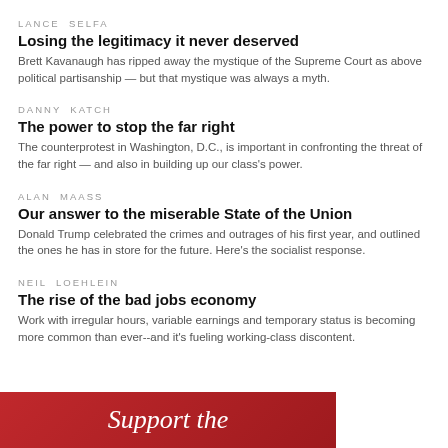LANCE SELFA
Losing the legitimacy it never deserved
Brett Kavanaugh has ripped away the mystique of the Supreme Court as above political partisanship — but that mystique was always a myth.
DANNY KATCH
The power to stop the far right
The counterprotest in Washington, D.C., is important in confronting the threat of the far right — and also in building up our class's power.
ALAN MAASS
Our answer to the miserable State of the Union
Donald Trump celebrated the crimes and outrages of his first year, and outlined the ones he has in store for the future. Here's the socialist response.
NEIL LOEHLEIN
The rise of the bad jobs economy
Work with irregular hours, variable earnings and temporary status is becoming more common than ever--and it's fueling working-class discontent.
[Figure (other): Red banner with white italic text reading 'Support the']